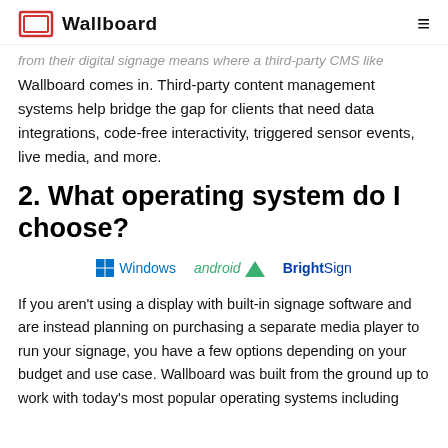Wallboard
from their digital signage means where a third-party CMS like Wallboard comes in. Third-party content management systems help bridge the gap for clients that need data integrations, code-free interactivity, triggered sensor events, live media, and more.
2. What operating system do I choose?
[Figure (logo): OS logos: Windows, android, BrightSign]
If you aren't using a display with built-in signage software and are instead planning on purchasing a separate media player to run your signage, you have a few options depending on your budget and use case. Wallboard was built from the ground up to work with today's most popular operating systems including